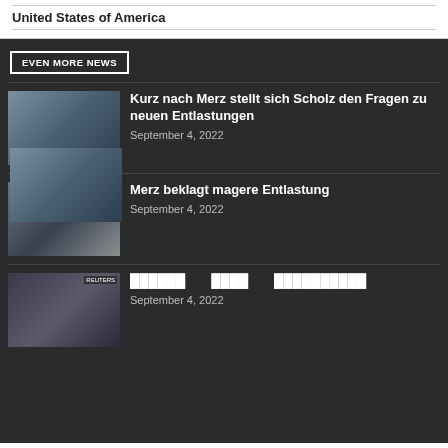United States of America
EVEN MORE NEWS
Kurz nach Merz stellt sich Scholz den Fragen zu neuen Entlastungen
September 4, 2022
Merz beklagt magere Entlastung
September 4, 2022
██████   ████   ██████████
September 4, 2022